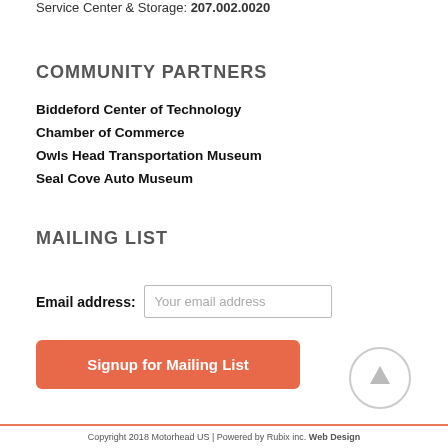Service Center & Storage: 207.002.0020
COMMUNITY PARTNERS
Biddeford Center of Technology
Chamber of Commerce
Owls Head Transportation Museum
Seal Cove Auto Museum
MAILING LIST
Email address: Your email address
Signup for Mailing List
Copyright 2018 Motorhead US | Powered by Rubix inc. Web Design